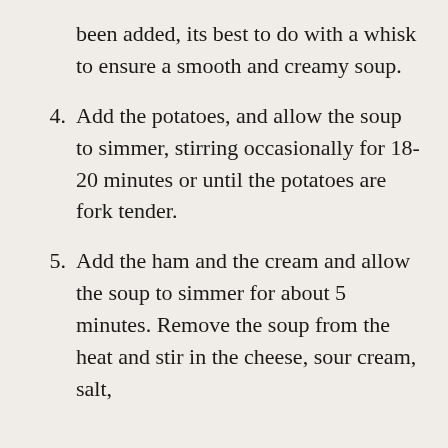been added, its best to do with a whisk to ensure a smooth and creamy soup.
4. Add the potatoes, and allow the soup to simmer, stirring occasionally for 18-20 minutes or until the potatoes are fork tender.
5. Add the ham and the cream and allow the soup to simmer for about 5 minutes. Remove the soup from the heat and stir in the cheese, sour cream, salt,